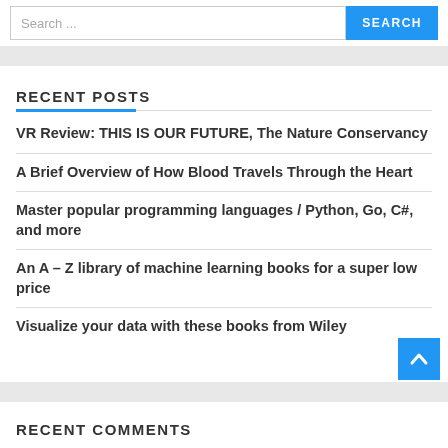Search ...
RECENT POSTS
VR Review: THIS IS OUR FUTURE, The Nature Conservancy
A Brief Overview of How Blood Travels Through the Heart
Master popular programming languages / Python, Go, C#, and more
An A – Z library of machine learning books for a super low price
Visualize your data with these books from Wiley
RECENT COMMENTS